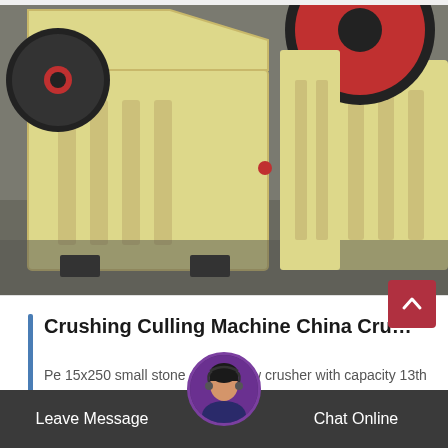[Figure (photo): Large yellow industrial jaw crusher machine in a factory/warehouse setting. The machine is a heavy-duty crushing equipment with ribbed frame, large flywheel with red center, and black rubber components, photographed from a low angle.]
Crushing Culling Machine China Cru…
Pe 15x250 small stone crusher jaw crusher with capacity 13th product description pe jaw crusher is…
Leave Message  Chat Online